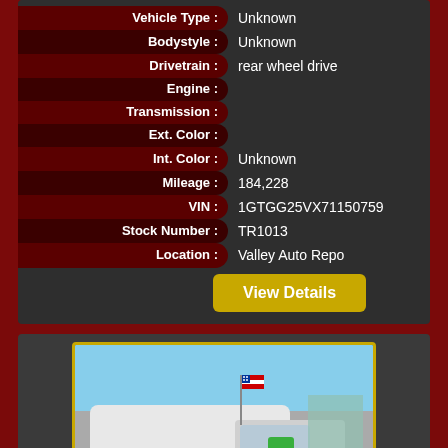| Field | Value |
| --- | --- |
| Vehicle Type : | Unknown |
| Bodystyle : | Unknown |
| Drivetrain : | rear wheel drive |
| Engine : |  |
| Transmission : |  |
| Ext. Color : |  |
| Int. Color : | Unknown |
| Mileage : | 184,228 |
| VIN : | 1GTGG25VX71150759 |
| Stock Number : | TR1013 |
| Location : | Valley Auto Repo |
View Details
[Figure (photo): White cargo van with American flags, green sticker on windshield, photographed at auto dealer lot with blue sky background]